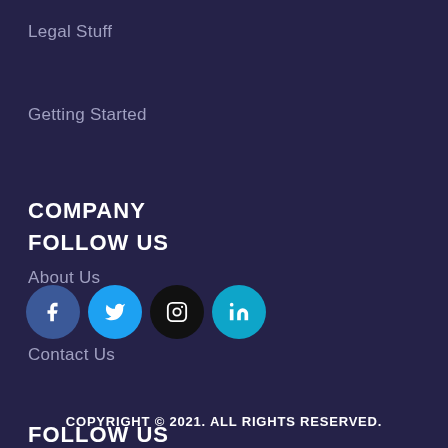Legal Stuff
Getting Started
COMPANY
About Us
Contact Us
FOLLOW US
[Figure (other): Social media icons: Facebook, Twitter, Instagram, LinkedIn]
COPYRIGHT © 2021. ALL RIGHTS RESERVED.